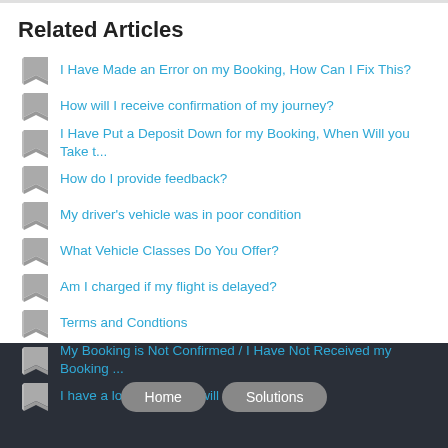Related Articles
I Have Made an Error on my Booking, How Can I Fix This?
How will I receive confirmation of my journey?
I Have Put a Deposit Down for my Booking, When Will you Take t...
How do I provide feedback?
My driver's vehicle was in poor condition
What Vehicle Classes Do You Offer?
Am I charged if my flight is delayed?
Terms and Condtions
My Booking is Not Confirmed / I Have Not Received my Booking ...
I have a lot of luggage, will it fit?
Home   Solutions